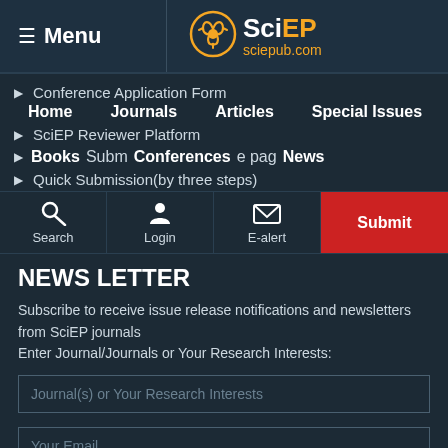≡ Menu | SciEP sciepub.com
Conference Application Form
Home | Journals | Articles | Special Issues
SciEP Reviewer Platform
Books | Submission page | Conferences | News
Quick Submission(by three steps)
Search | Login | E-alert | Submit
NEWS LETTER
Subscribe to receive issue release notifications and newsletters from SciEP journals
Enter Journal/Journals or Your Research Interests:
Journal(s) or Your Research Interests
Your Email